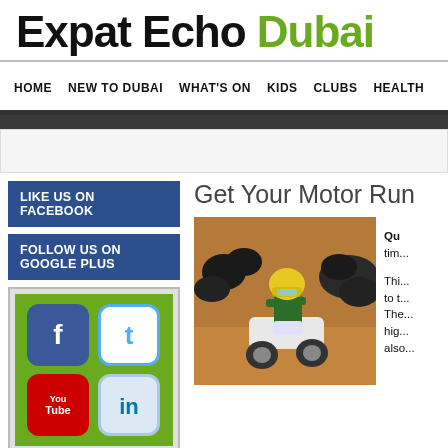Expat Echo Dubai
HOME  NEW TO DUBAI  WHAT'S ON  KIDS  CLUBS  HEALTH
[Figure (screenshot): Ad bar placeholder]
LIKE US ON FACEBOOK
FOLLOW US ON GOOGLE PLUS
[Figure (infographic): Social media icons grid: Facebook, Twitter, YouTube, LinkedIn on green background]
Get Your Motor Run
[Figure (photo): Child in yellow helmet riding a quad bike/ATV on a dirt track with tires in the background]
Qu... tim...
Thi... to t... The... hig... also...
adventure was on the Dubai-I...